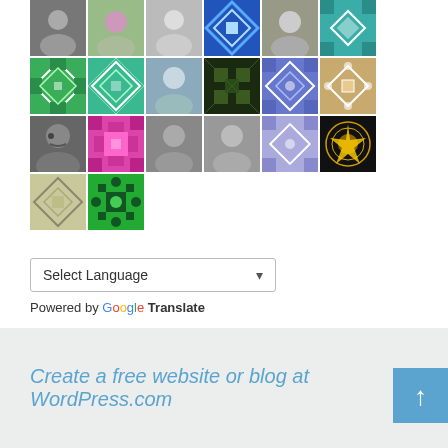[Figure (photo): Grid of user avatar thumbnails arranged in 4 rows. Row 1: 6 avatars (photos and patterns). Row 2: 6 avatars (green geometric patterns, photo, dark pattern, purple/blue pattern, tan pattern). Row 3: 6 avatars (photo of bearded man, pink geometric, photo of profile, photo of woman, lavender pattern, gold ornament on black). Row 4: 2 avatars (tan pattern, green geometric).]
Select Language
Powered by Google Translate
Create a free website or blog at WordPress.com